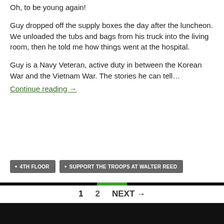Oh, to be young again!
Guy dropped off the supply boxes the day after the luncheon. We unloaded the tubs and bags from his truck into the living room, then he told me how things went at the hospital.
Guy is a Navy Veteran, active duty in between the Korean War and the Vietnam War. The stories he can tell…
Continue reading →
4TH FLOOR
SUPPORT THE TROOPS AT WALTER REED
1  2  NEXT →